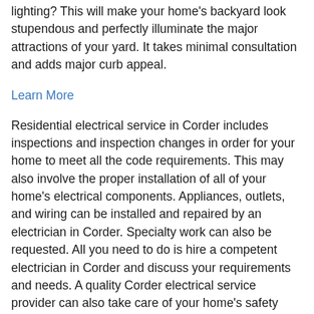lighting? This will make your home's backyard look stupendous and perfectly illuminate the major attractions of your yard. It takes minimal consultation and adds major curb appeal.
Learn More
Residential electrical service in Corder includes inspections and inspection changes in order for your home to meet all the code requirements. This may also involve the proper installation of all of your home's electrical components. Appliances, outlets, and wiring can be installed and repaired by an electrician in Corder. Specialty work can also be requested. All you need to do is hire a competent electrician in Corder and discuss your requirements and needs. A quality Corder electrical service provider can also take care of your home's safety measures including security systems and smoke detectors.
As for commercial electrical services, they coincide and resemble residential electrical work but they are mostly on a